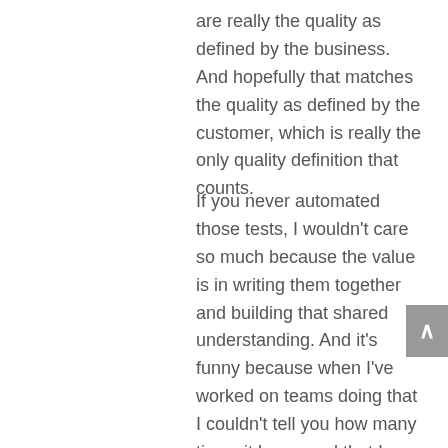are really the quality as defined by the business. And hopefully that matches the quality as defined by the customer, which is really the only quality definition that counts.
If you never automated those tests, I wouldn't care so much because the value is in writing them together and building that shared understanding. And it's funny because when I've worked on teams doing that I couldn't tell you how many times it happened that I wrote a aTDD type of tests and the developer comes over and says, oh, this test is failing. And I say that's because it should be doing this. And you wrote it to do that. And he's no, I think it really should do that. Now we got to go to the product person and get the answer and it makes us talk to each